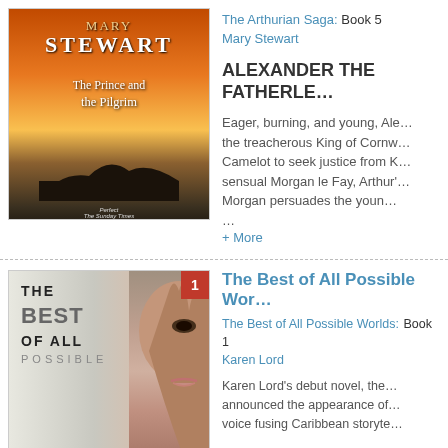[Figure (illustration): Book cover of 'The Prince and the Pilgrim' by Mary Stewart, showing orange/sunset sky over dark island silhouettes reflected on water]
The Arthurian Saga: Book 5
Mary Stewart
ALEXANDER THE FATHERLE...
Eager, burning, and young, Ale... the treacherous King of Cornw... Camelot to seek justice from K... sensual Morgan le Fay, Arthur'... Morgan persuades the youn... ...
+ More
[Figure (photo): Book cover of 'The Best of All Possible Worlds' by Karen Lord, showing close-up of a woman's face with text overlaid]
The Best of All Possible Wor...
The Best of All Possible Worlds: Book 1
Karen Lord
Karen Lord's debut novel, the... announced the appearance of... voice fusing Caribbean storyte...